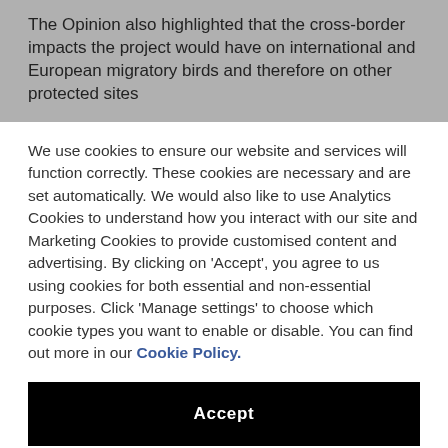The Opinion also highlighted that the cross-border impacts the project would have on international and European migratory birds and therefore on other protected sites
We use cookies to ensure our website and services will function correctly. These cookies are necessary and are set automatically. We would also like to use Analytics Cookies to understand how you interact with our site and Marketing Cookies to provide customised content and advertising. By clicking on 'Accept', you agree to us using cookies for both essential and non-essential purposes. Click 'Manage settings' to choose which cookie types you want to enable or disable. You can find out more in our Cookie Policy.
Accept
Manage settings